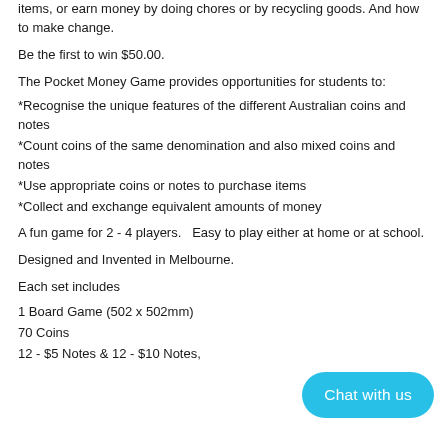items, or earn money by doing chores or by recycling goods.  And how to make change.
Be the first to win $50.00.
The Pocket Money Game provides opportunities for students to:
*Recognise the unique features of the different Australian coins and notes
*Count coins of the same denomination and also mixed coins and notes
*Use appropriate coins or notes to purchase items
*Collect and exchange equivalent amounts of money
A fun game for 2 - 4 players.   Easy to play either at home or at school.
Designed and Invented in Melbourne.
Each set includes
1 Board Game (502 x 502mm)
70 Coins
12 - $5 Notes & 12 - $10 Notes,
[Figure (other): Cyan/blue rounded rectangle button with white text 'Chat with us']